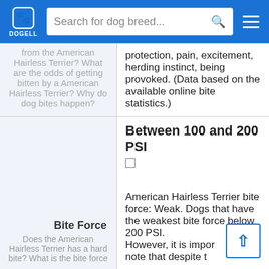DOGELL — Search for dog breed...
from the American Hairless Terrier? What are the odds of getting bitten by a American Hairless Terrier? Why do dog bites happen?
protection, pain, excitement, herding instinct, being provoked. (Data based on the available online bite statistics.)
Bite Force
Does the American Hairless Terrier has a hard bite? What is the bite force
Between 100 and 200 PSI

American Hairless Terrier bite force: Weak. Dogs that have the weakest bite force below 200 PSI. However, it is important to note that despite the fact that the bite force